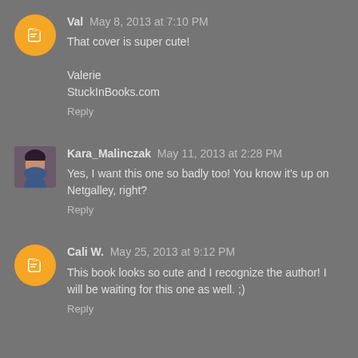Val May 8, 2013 at 7:10 PM
That cover is super cute!

Valerie
StuckInBooks.com
Reply
Kara_Malinczak May 11, 2013 at 2:28 PM
Yes, I want this one so badly too! You know it's up on Netgalley, right?
Reply
Cali W. May 25, 2013 at 9:12 PM
This book looks so cute and I recognize the author! I will be waiting for this one as well. ;)
Reply